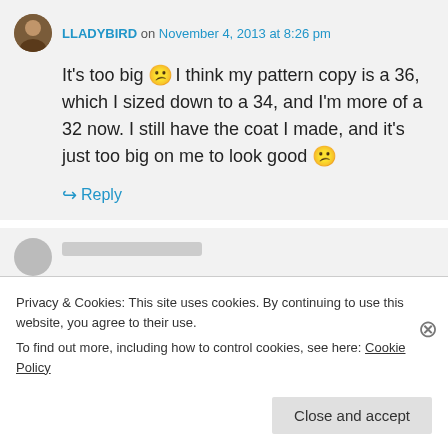LLADYBIRD on November 4, 2013 at 8:26 pm
It's too big 😕 I think my pattern copy is a 36, which I sized down to a 34, and I'm more of a 32 now. I still have the coat I made, and it's just too big on me to look good 😕
↪ Reply
Privacy & Cookies: This site uses cookies. By continuing to use this website, you agree to their use.
To find out more, including how to control cookies, see here: Cookie Policy
Close and accept